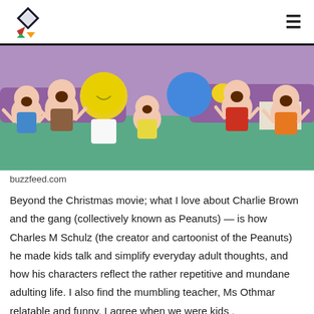[Logo] [Hamburger menu icon]
[Figure (illustration): Cartoon illustration of Charlie Brown and the Peanuts gang, colorful characters with round heads laughing and celebrating, from buzzfeed.com]
buzzfeed.com
Beyond the Christmas movie; what I love about Charlie Brown and the gang (collectively known as Peanuts) — is how Charles M Schulz (the creator and cartoonist of the Peanuts) he made kids talk and simplify everyday adult thoughts, and how his characters reflect the rather repetitive and mundane adulting life. I also find the mumbling teacher, Ms Othmar relatable and funny. I agree when we were kids ,